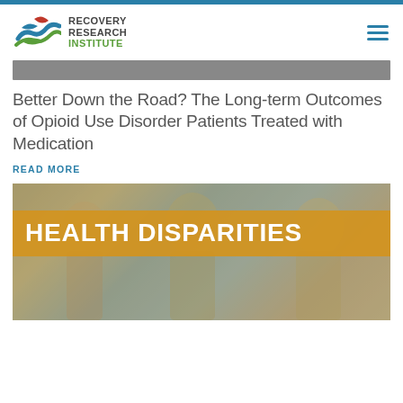Recovery Research Institute
[Figure (photo): Gray partial image bar at top of article content]
Better Down the Road? The Long-term Outcomes of Opioid Use Disorder Patients Treated with Medication
READ MORE
[Figure (photo): Photo of people with amber/gold 'HEALTH DISPARITIES' overlay banner]